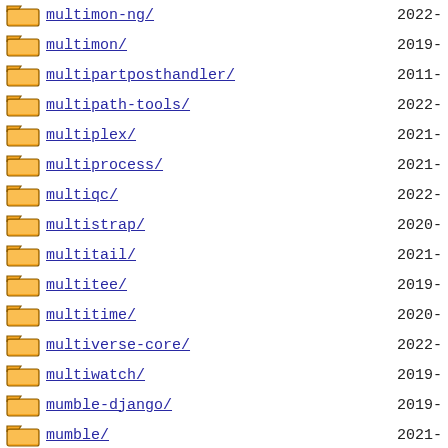multimon-ng/ 2022-
multimon/ 2019-
multipartposthandler/ 2011-
multipath-tools/ 2022-
multiplex/ 2021-
multiprocess/ 2021-
multiqc/ 2022-
multistrap/ 2020-
multitail/ 2021-
multitee/ 2019-
multitime/ 2020-
multiverse-core/ 2022-
multiwatch/ 2019-
mumble-django/ 2019-
mumble/ 2021-
mummer/ 2021-
mummy/ 2019-
mumps/ 2022-